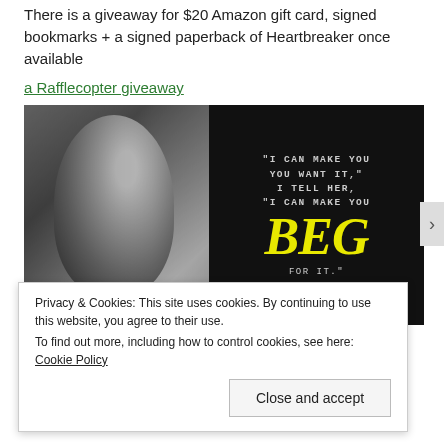There is a giveaway for $20 Amazon gift card, signed bookmarks + a signed paperback of Heartbreaker once available
a Rafflecopter giveaway
[Figure (illustration): Black and white image of a person's back/shoulders on the left half, and on the right half a dark background with text: '"I CAN MAKE YOU YOU WANT IT," I TELL HER, "I CAN MAKE YOU BEG FOR IT."' where BEG is in large yellow stylized font.]
Privacy & Cookies: This site uses cookies. By continuing to use this website, you agree to their use.
To find out more, including how to control cookies, see here: Cookie Policy
Close and accept